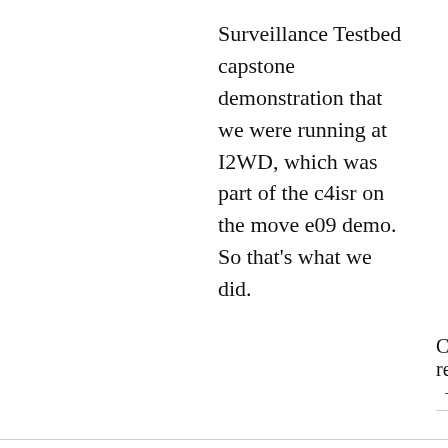Surveillance Testbed capstone demonstration that we were running at I2WD, which was part of the c4isr on the move e09 demo. So that’s what we did.
Continue reading →
ARMY, LOCKHEED MARTIN, SENSORS, TECH
Q&A: CERDEC’s Charlie Maraldo on C4ISR On-the-Move ’09